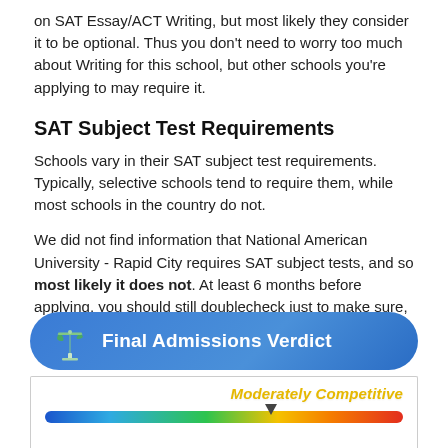on SAT Essay/ACT Writing, but most likely they consider it to be optional. Thus you don't need to worry too much about Writing for this school, but other schools you're applying to may require it.
SAT Subject Test Requirements
Schools vary in their SAT subject test requirements. Typically, selective schools tend to require them, while most schools in the country do not.
We did not find information that National American University - Rapid City requires SAT subject tests, and so most likely it does not. At least 6 months before applying, you should still doublecheck just to make sure, so you have enough time to take the test.
Final Admissions Verdict
[Figure (infographic): Gauge/scale showing 'Moderately Competitive' label in yellow-gold italic text, with a color gradient bar from blue to red and a pointer arrow indicating a position around 63% from the left.]